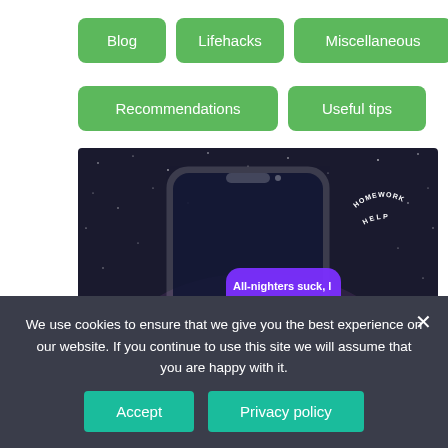Blog
Lifehacks
Miscellaneous
Q&A
Recommendations
Useful tips
[Figure (photo): A smartphone mockup against a starry night sky background showing a messaging conversation. One purple speech bubble reads 'All-nighters suck, I hate homework!!!' and a white/grey bubble reads 'I used pro-papers.com and slept like a baby'. A 'HOMEWORK HELP' logo is visible in the upper right of the image.]
We use cookies to ensure that we give you the best experience on our website. If you continue to use this site we will assume that you are happy with it.
Accept
Privacy policy